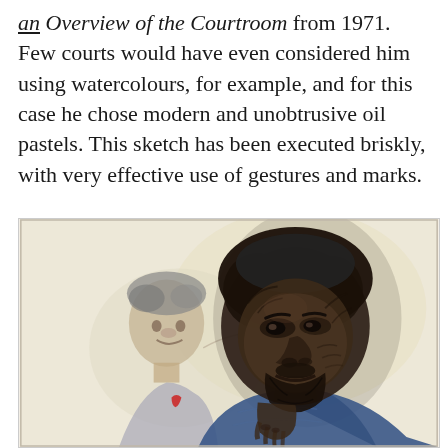an Overview of the Courtroom from 1971. Few courts would have even considered him using watercolours, for example, and for this case he chose modern and unobtrusive oil pastels. This sketch has been executed briskly, with very effective use of gestures and marks.
[Figure (illustration): A courtroom sketch rendered in oil pastels and charcoal showing two figures: a large Black man with a beard in the foreground, his hand raised to his chin in a thoughtful pose, wearing a blue shirt; and a lighter-skinned man with curly hair visible in the background to the left, wearing a suit with a red detail. The sketch is executed loosely with gestural marks on a pale cream/yellow background.]